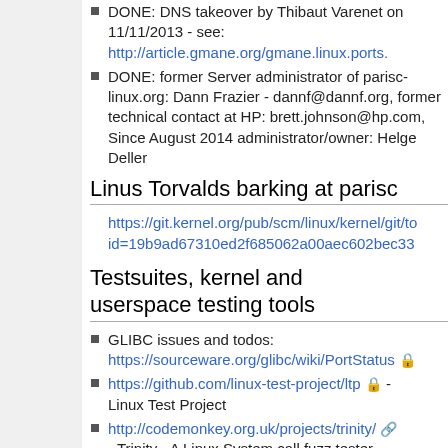DONE: DNS takeover by Thibaut Varenet on 11/11/2013 - see: http://article.gmane.org/gmane.linux.ports.p
DONE: former Server administrator of parisc-linux.org: Dann Frazier - dannf@dannf.org, former technical contact at HP: brett.johnson@hp.com, Since August 2014 administrator/owner: Helge Deller
Linus Torvalds barking at parisc
https://git.kernel.org/pub/scm/linux/kernel/git/to id=19b9ad67310ed2f685062a00aec602bec33
Testsuites, kernel and userspace testing tools
GLIBC issues and todos: https://sourceware.org/glibc/wiki/PortStatus
https://github.com/linux-test-project/ltp - Linux Test Project
http://codemonkey.org.uk/projects/trinity/ - Trinity - A Linux System call fuzz tester.